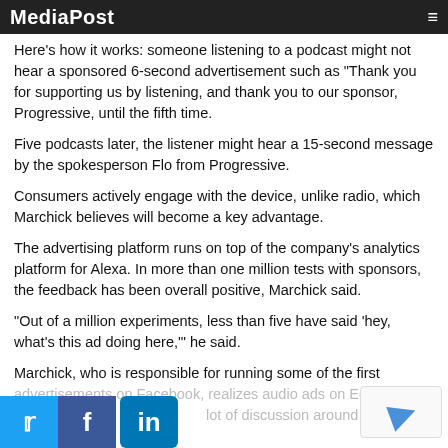MediaPost
Here's how it works: someone listening to a podcast might not hear a sponsored 6-second advertisement such as "Thank you for supporting us by listening, and thank you to our sponsor, Progressive, until the fifth time.
Five podcasts later, the listener might hear a 15-second message by the spokesperson Flo from Progressive.
Consumers actively engage with the device, unlike radio, which Marchick believes will become a key advantage.
The advertising platform runs on top of the company's analytics platform for Alexa. In more than one million tests with sponsors, the feedback has been overall positive, Marchick said.
"Out of a million experiments, less than five have said 'hey, what's this ad doing here,'" he said.
Marchick, who is responsible for running some of the first advertisements on Facebook, realizes audio ads on Echo are generating a lot of discussion around the model.